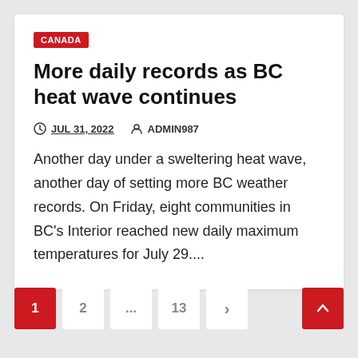CANADA
More daily records as BC heat wave continues
JUL 31, 2022   ADMIN987
Another day under a sweltering heat wave, another day of setting more BC weather records. On Friday, eight communities in BC’s Interior reached new daily maximum temperatures for July 29....